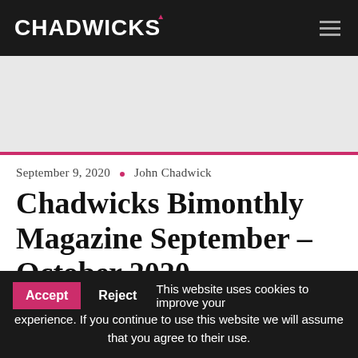CHADWICKS
September 9, 2020 • John Chadwick
Chadwicks Bimonthly Magazine September – October 2020
Accept  Reject  This website uses cookies to improve your experience. If you continue to use this website we will assume that you agree to their use.